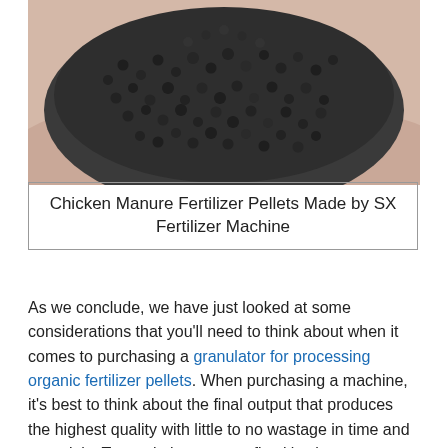[Figure (photo): Hands holding dark grey fertilizer pellets/granules against a light background]
Chicken Manure Fertilizer Pellets Made by SX Fertilizer Machine
As we conclude, we have just looked at some considerations that you'll need to think about when it comes to purchasing a granulator for processing organic fertilizer pellets. When purchasing a machine, it's best to think about the final output that produces the highest quality with little to no wastage in time and materials. To maximize your profits, it's also a great idea to select a granulator that meets your budget at the lowest cost.
With that said, you should still keep in mind that not all